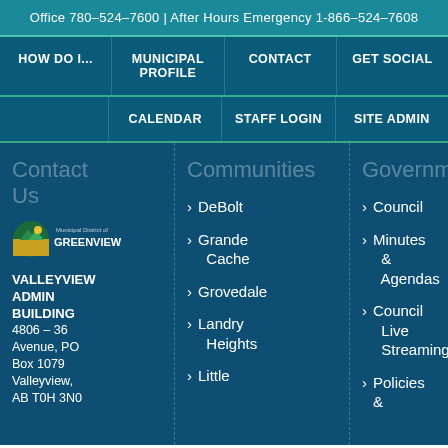Office 780-524-7600 | After Hours Emergency 1-866-524-7608
HOW DO I...
MUNICIPAL PROFILE
CONTACT
GET SOCIAL
CALENDAR
STAFF LOGIN
SITE ADMIN
Contact Us
[Figure (logo): Municipal District of Greenview logo with stylized landscape icon]
VALLEYVIEW ADMIN BUILDING
4806 – 36 Avenue, PO Box 1079 Valleyview, AB  T0H 3N0
Communities
DeBolt
Grande Cache
Grovedale
Landry Heights
Little
Government
Council
Minutes & Agendas
Council Live Streaming
Policies &